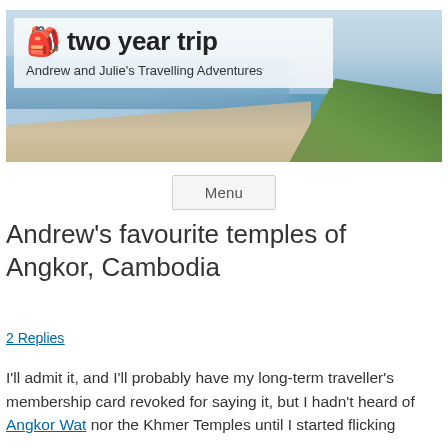[Figure (photo): Website header banner for 'two year trip' blog showing a beach/coastal landscape with blue sky, sea, sand, and green grass on the right. Overlaid with a semi-transparent white box containing the site title with a backpack icon and the tagline 'Andrew and Julie's Travelling Adventures'.]
two year trip — Andrew and Julie's Travelling Adventures
Menu
Andrew's favourite temples of Angkor, Cambodia
2 Replies
I'll admit it, and I'll probably have my long-term traveller's membership card revoked for saying it, but I hadn't heard of Angkor Wat nor the Khmer Temples until I started flicking